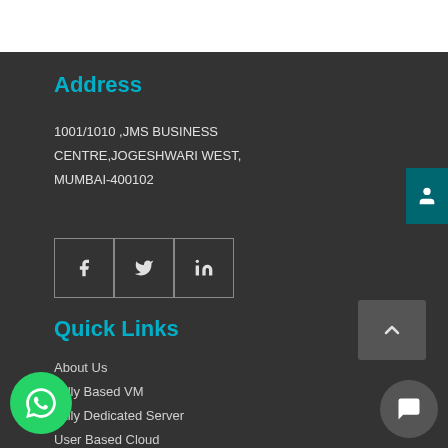Address
1001/1010 ,JMS BUSINESS CENTRE,JOGESHWARI WEST, MUMBAI-400102
[Figure (other): Social media icon buttons: Facebook, Twitter, LinkedIn]
Quick Links
About Us
Tally Based VM
Tally Dedicated Server
User Based Cloud
Tally MultiUser
Tally On Cloud Customization